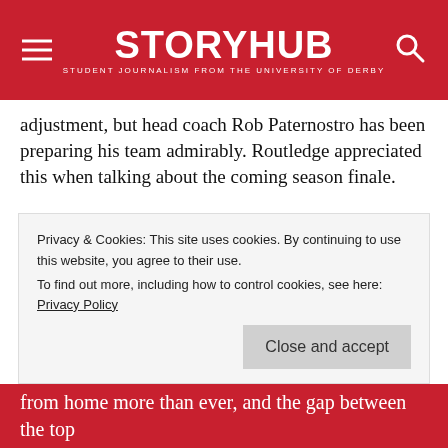StoryHub — Student Journalism from the University of Derby
adjustment, but head coach Rob Paternostro has been preparing his team admirably. Routledge appreciated this when talking about the coming season finale.
“We have always been a team to nearly do things, nearly win the title but fall just short. But in the last five-or-so years we have really come into our own. It’s been the most successful times we’ve had, and it’s no coincidence it’s come with the arrival of Rob Paternostro. I think most people in the league know he is one of the best [head coaches] to do it.”
Rob Paternostro will be playing for the most...
Privacy & Cookies: This site uses cookies. By continuing to use this website, you agree to their use. To find out more, including how to control cookies, see here: Privacy Policy
from home more than ever, and the gap between the top